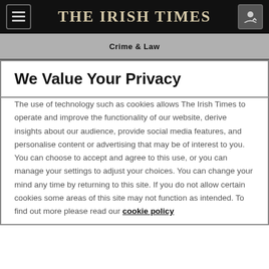THE IRISH TIMES
Crime & Law
We Value Your Privacy
The use of technology such as cookies allows The Irish Times to operate and improve the functionality of our website, derive insights about our audience, provide social media features, and personalise content or advertising that may be of interest to you. You can choose to accept and agree to this use, or you can manage your settings to adjust your choices. You can change your mind any time by returning to this site. If you do not allow certain cookies some areas of this site may not function as intended. To find out more please read our cookie policy